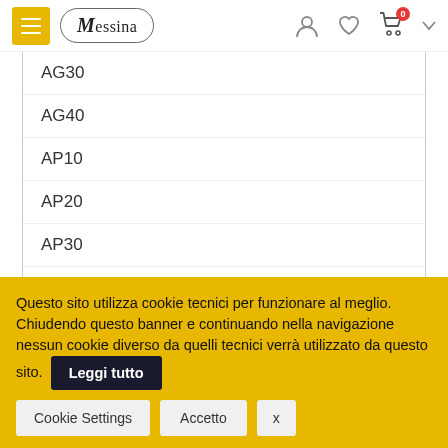Messina — navigation header with hamburger menu, logo, user/wishlist/cart icons
AG30
AG40
AP10
AP20
AP30
AP40 (active/highlighted in gold)
Questo sito utilizza cookie tecnici per funzionare al meglio. Chiudendo questo banner e continuando nella navigazione nessun cookie diverso da quelli tecnici verrà utilizzato da questo sito.
Leggi tutto
Cookie Settings | Accetto | x